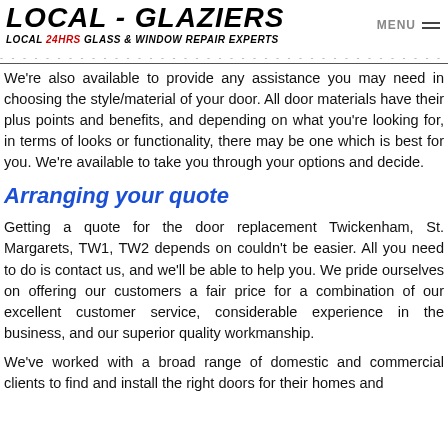LOCAL - GLAZIERS | LOCAL 24HRS GLASS & WINDOW REPAIR EXPERTS | MENU
We're also available to provide any assistance you may need in choosing the style/material of your door. All door materials have their plus points and benefits, and depending on what you're looking for, in terms of looks or functionality, there may be one which is best for you. We're available to take you through your options and decide.
Arranging your quote
Getting a quote for the door replacement Twickenham, St. Margarets, TW1, TW2 depends on couldn't be easier. All you need to do is contact us, and we'll be able to help you. We pride ourselves on offering our customers a fair price for a combination of our excellent customer service, considerable experience in the business, and our superior quality workmanship.
We've worked with a broad range of domestic and commercial clients to find and install the right doors for their homes and